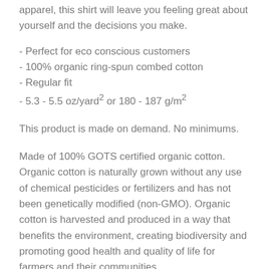apparel, this shirt will leave you feeling great about yourself and the decisions you make.
- Perfect for eco conscious customers
- 100% organic ring-spun combed cotton
- Regular fit
- 5.3 - 5.5 oz/yard² or 180 - 187 g/m²
This product is made on demand. No minimums.
Made of 100% GOTS certified organic cotton. Organic cotton is naturally grown without any use of chemical pesticides or fertilizers and has not been genetically modified (non-GMO). Organic cotton is harvested and produced in a way that benefits the environment, creating biodiversity and promoting good health and quality of life for farmers and their communities.